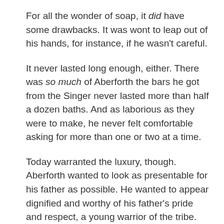For all the wonder of soap, it did have some drawbacks. It was wont to leap out of his hands, for instance, if he wasn't careful.
It never lasted long enough, either. There was so much of Aberforth the bars he got from the Singer never lasted more than half a dozen baths. And as laborious as they were to make, he never felt comfortable asking for more than one or two at a time.
Today warranted the luxury, though. Aberforth wanted to look as presentable for his father as possible. He wanted to appear dignified and worthy of his father's pride and respect, a young warrior of the tribe.